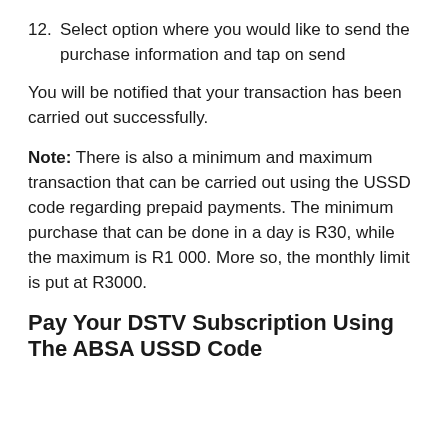12. Select option where you would like to send the purchase information and tap on send
You will be notified that your transaction has been carried out successfully.
Note: There is also a minimum and maximum transaction that can be carried out using the USSD code regarding prepaid payments. The minimum purchase that can be done in a day is R30, while the maximum is R1 000. More so, the monthly limit is put at R3000.
Pay Your DSTV Subscription Using The ABSA USSD Code